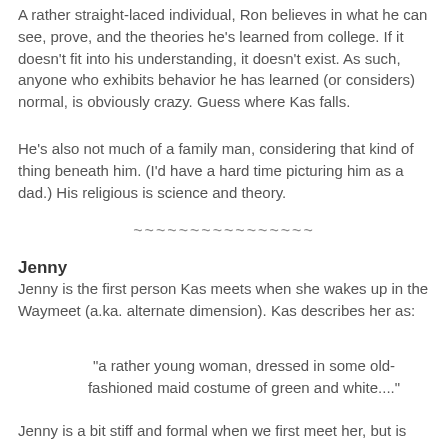A rather straight-laced individual, Ron believes in what he can see, prove, and the theories he's learned from college. If it doesn't fit into his understanding, it doesn't exist. As such, anyone who exhibits behavior he has learned (or considers) normal, is obviously crazy. Guess where Kas falls.
He's also not much of a family man, considering that kind of thing beneath him. (I'd have a hard time picturing him as a dad.) His religious is science and theory.
~~~~~~~~~~~~~~~~
Jenny
Jenny is the first person Kas meets when she wakes up in the Waymeet (a.ka. alternate dimension). Kas describes her as:
"a rather young woman, dressed in some old-fashioned maid costume of green and white...."
Jenny is a bit stiff and formal when we first meet her, but is